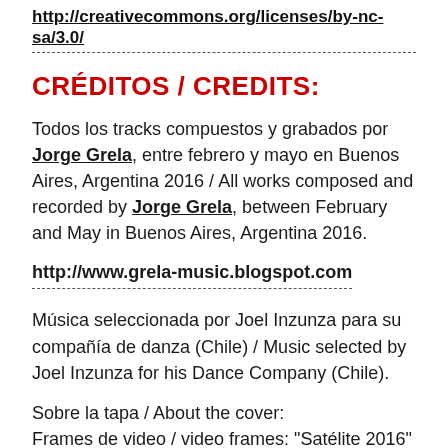http://creativecommons.org/licenses/by-nc-sa/3.0/
CRÉDITOS / CREDITS:
Todos los tracks compuestos y grabados por Jorge Grela, entre febrero y mayo en Buenos Aires, Argentina 2016 / All works composed and recorded by Jorge Grela, between February and May in Buenos Aires, Argentina 2016.
http://www.grela-music.blogspot.com
Música seleccionada por Joel Inzunza para su compañía de danza (Chile) / Music selected by Joel Inzunza for his Dance Company (Chile).
Sobre la tapa / About the cover:
Frames de video / video frames: "Satélite 2016" por Milena Pafundi Vi